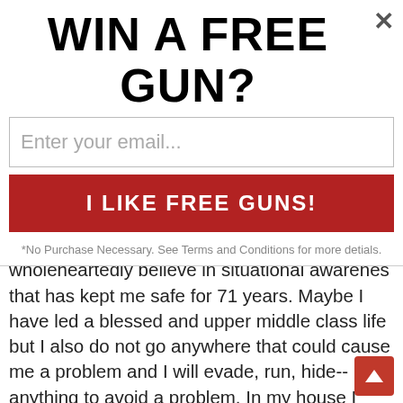WIN A FREE GUN?
Enter your email...
I LIKE FREE GUNS!
*No Purchase Necessary. See Terms and Conditions for more detials.
I do not carry 24/7 on most days. I wholeheartedly believe in situational awarenes that has kept me safe for 71 years. Maybe I have led a blessed and upper middle class life but I also do not go anywhere that could cause me a problem and I will evade, run, hide--anything to avoid a problem. In my house I lock my bedroom door and will not leave it to investigate a bump in the night. I have insurance for everything and it all can be replaced--it is just stuff. I have insurance on myself but I am not replaceable and have no intention of finding out how good I am at this gun stuff. Try and open my locked bedroom door and it will probably will be the last thing you do. I target shoot in more of a real practice mode every two weeks with friends but I am not rolling around and laying on my belly and shooting from the